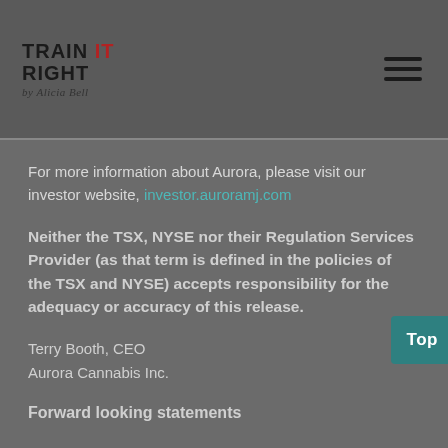TRAIN IT RIGHT by Alicia Bell
For more information about Aurora, please visit our investor website, investor.auroramj.com
Neither the TSX, NYSE nor their Regulation Services Provider (as that term is defined in the policies of the TSX and NYSE) accepts responsibility for the adequacy or accuracy of this release.
Terry Booth, CEO
Aurora Cannabis Inc.
Forward looking statements